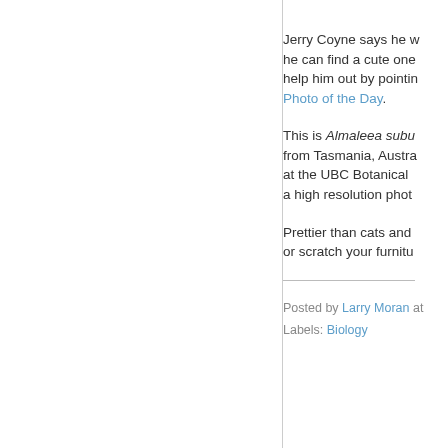Jerry Coyne says he wants to post a photo but he can find a cute one. We can help him out by pointing to the Photo of the Day.
This is Almaleea subumbellata from Tasmania, Australia. It was photographed at the UBC Botanical Garden. Click here for a high resolution photo.
Prettier than cats and it won't bite or scratch your furniture.
Posted by Larry Moran at
Labels: Biology